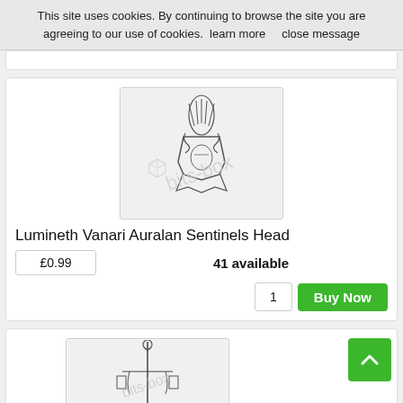This site uses cookies. By continuing to browse the site you are agreeing to our use of cookies.  learn more      close message
[Figure (photo): Lumineth Vanari Auralan Sentinels Head miniature part, black and white, with a bits-box watermark overlay]
Lumineth Vanari Auralan Sentinels Head
£0.99
41 available
1
Buy Now
[Figure (photo): Second miniature part (partial view), black and white, with a bits-box watermark overlay]